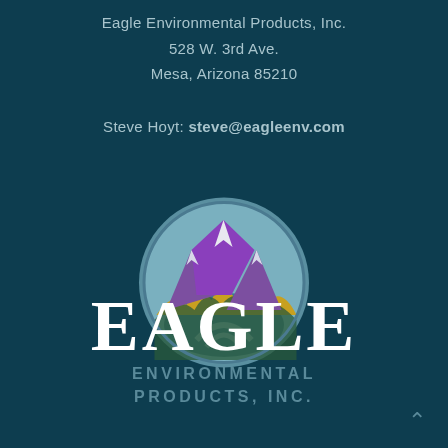Eagle Environmental Products, Inc.
528 W. 3rd Ave.
Mesa, Arizona 85210
Steve Hoyt: steve@eagleenv.com
[Figure (logo): Eagle Environmental Products, Inc. logo: circular badge with purple mountain peaks, golden foothills, teal river and sky, with 'EAGLE' in large white serif text and 'ENVIRONMENTAL PRODUCTS, INC.' in teal spaced letters below]
EAGLE
ENVIRONMENTAL
PRODUCTS, INC.